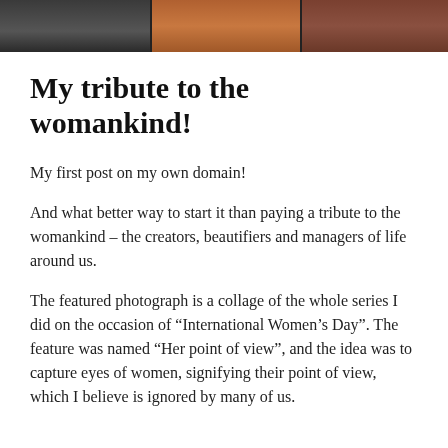[Figure (photo): A horizontal strip collage of close-up photos of women's eyes — three panels: left is dark/monochrome, center shows warm brown tones, right shows darker skin tones.]
My tribute to the womankind!
My first post on my own domain!
And what better way to start it than paying a tribute to the womankind – the creators, beautifiers and managers of life around us.
The featured photograph is a collage of the whole series I did on the occasion of “International Women’s Day”. The feature was named “Her point of view”, and the idea was to capture eyes of women, signifying their point of view, which I believe is ignored by many of us.